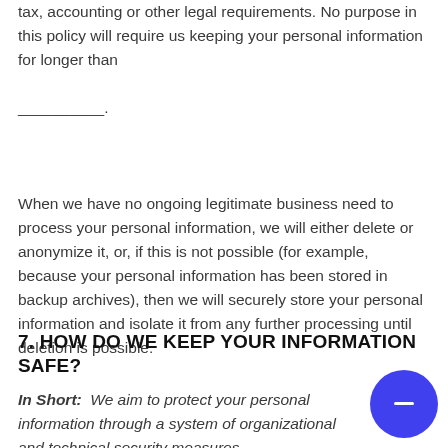tax, accounting or other legal requirements. No purpose in this policy will require us keeping your personal information for longer than __________.
When we have no ongoing legitimate business need to process your personal information, we will either delete or anonymize it, or, if this is not possible (for example, because your personal information has been stored in backup archives), then we will securely store your personal information and isolate it from any further processing until deletion is possible.
7. HOW DO WE KEEP YOUR INFORMATION SAFE?
In Short: We aim to protect your personal information through a system of organizational and technical security measures.